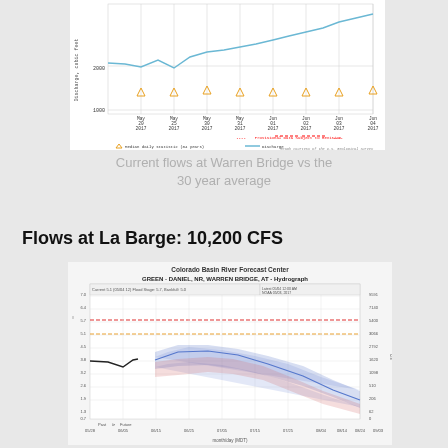[Figure (continuous-plot): USGS hydrograph showing discharge (cubic feet per second) at Warren Bridge from May 20 to Jun 4, 2017. Blue line shows actual discharge rising from ~2000 to above 2000 cfs. Orange triangles represent median daily statistic (84 years). Red dashed line marks provisional data. Graph courtesy of the U.S. Geological Survey.]
Current flows at Warren Bridge vs the 30 year average
Flows at La Barge: 10,200 CFS
[Figure (continuous-plot): Colorado Basin River Forecast Center hydrograph for GREEN - DANIEL, NR, WARREN BRIDGE, AT. Shows past and future (forecast) streamflow with blue shaded uncertainty band and red shaded uncertainty band. Horizontal dashed lines indicate flood stage (red) and bankfull (orange). X-axis shows month/day (MDT) from 06/20 to 09/00. Y-axis shows feet and cfs values.]